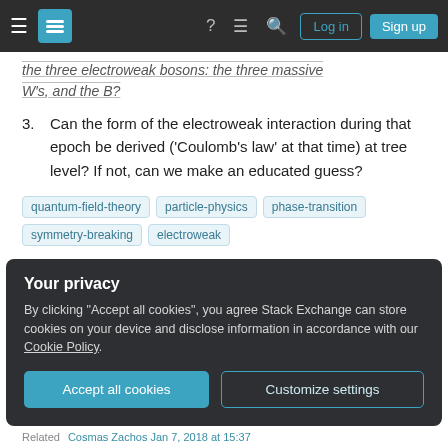Stack Exchange navigation bar with hamburger, logo, help, chat, search, Log in, Sign up
the three W's, and the B?
3. Can the form of the electroweak interaction during that epoch be derived ('Coulomb's law' at that time) at tree level? If not, can we make an educated guess?
Tags: quantum-field-theory, particle-physics, phase-transition, symmetry-breaking, electroweak
Share   Cite   edited Jan 5, 2018 at 19:47   Improve this question
Your privacy
By clicking "Accept all cookies", you agree Stack Exchange can store cookies on your device and disclose information in accordance with our Cookie Policy.
Accept all cookies   Customize settings
Related   Cosmas Zachos Jan 7, 2018 at 15:37